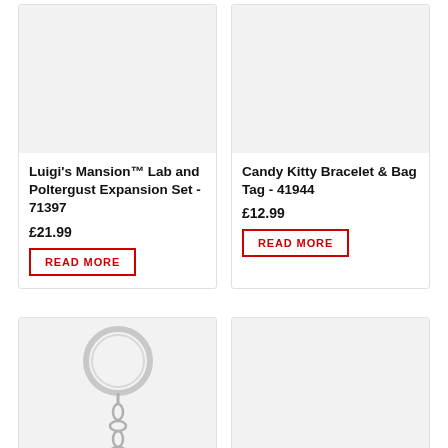[Figure (photo): Product image placeholder - light grey rectangle for Luigi's Mansion Lab and Poltergust Expansion Set]
Luigi's Mansion™ Lab and Poltergust Expansion Set - 71397
£21.99
READ MORE
[Figure (photo): Product image placeholder - light grey rectangle for Candy Kitty Bracelet & Bag Tag]
Candy Kitty Bracelet & Bag Tag - 41944
£12.99
READ MORE
[Figure (photo): Product photo showing a keychain with round metal ring and chain, partially visible]
[Figure (photo): Product image placeholder - light grey rectangle, second bottom card]